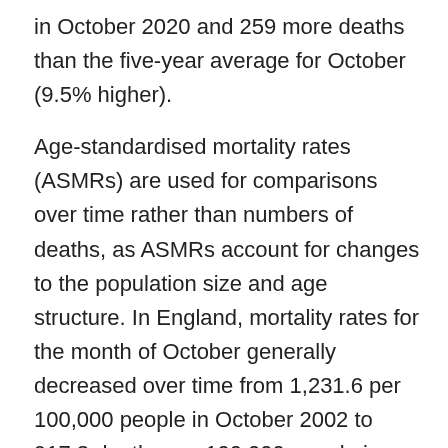in October 2020 and 259 more deaths than the five-year average for October (9.5% higher).

Age-standardised mortality rates (ASMRs) are used for comparisons over time rather than numbers of deaths, as ASMRs account for changes to the population size and age structure. In England, mortality rates for the month of October generally decreased over time from 1,231.6 per 100,000 people in October 2002 to 917.3 deaths per 100,000 people in October 2018. This was followed by a statistically significant increase in October 2019 to 939.3 deaths per 100,000 people. The ASMR decreased in October 2020 (928.6 deaths per 100,000 people) and in October